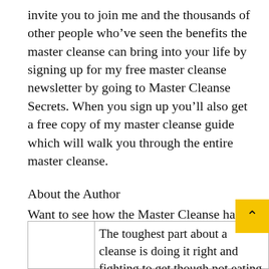invite you to join me and the thousands of other people who've seen the benefits the master cleanse can bring into your life by signing up for my free master cleanse newsletter by going to Master Cleanse Secrets. When you sign up you'll also get a free copy of my master cleanse guide which will walk you through the entire master cleanse.
About the Author
Want to see how the Master Cleanse has helped 100's of people. Go to the Master Cleanse blog http://mastercleansesecrets.com/blog
The toughest part about a cleanse is doing it right and fighting to get though not eating